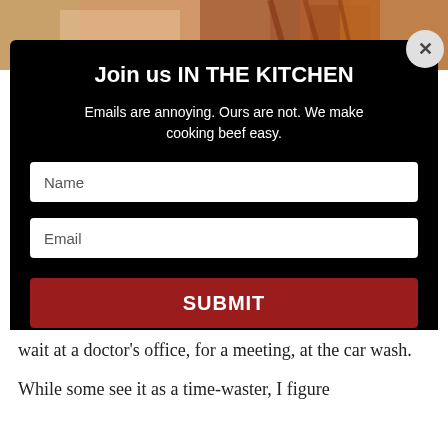[Figure (photo): Food photo showing grilled/cooked beef pieces in the background, partially visible at top of page]
Join us IN THE KITCHEN
Emails are annoying. Ours are not. We make cooking beef easy.
Name
Email
SUBMIT
wait at a doctor's office, for a meeting, at the car wash.
While some see it as a time-waster, I figure